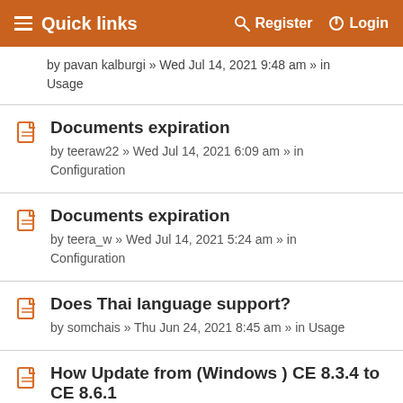Quick links  Register  Login
by pavan kalburgi » Wed Jul 14, 2021 9:48 am » in Usage
Documents expiration
by teeraw22 » Wed Jul 14, 2021 6:09 am » in Configuration
Documents expiration
by teera_w » Wed Jul 14, 2021 5:24 am » in Configuration
Does Thai language support?
by somchais » Thu Jun 24, 2021 8:45 am » in Usage
How Update from (Windows ) CE 8.3.4 to CE 8.6.1
by Andreas-68 » Sun May 30, 2021 9:40 am » in